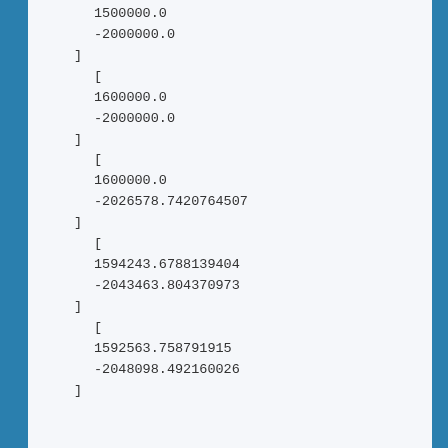1500000.0
-2000000.0
]
[
1600000.0
-2000000.0
]
[
1600000.0
-2026578.7420764507
]
[
1594243.6788139404
-2043463.804370973
]
[
1592563.758791915
-2048098.492160026
]